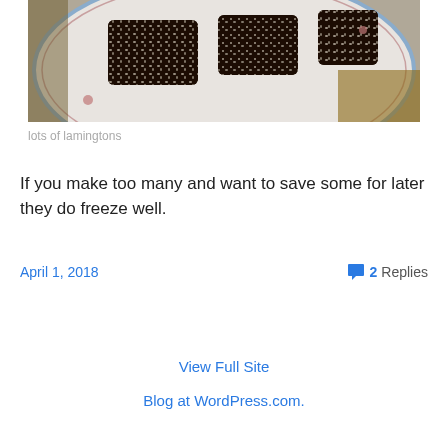[Figure (photo): Photo of lamingtons (chocolate and coconut coated sponge cakes) on a decorative white plate with blue floral border, viewed from above on a wooden surface.]
lots of lamingtons
If you make too many and want to save some for later they do freeze well.
April 1, 2018
2 Replies
View Full Site
Blog at WordPress.com.